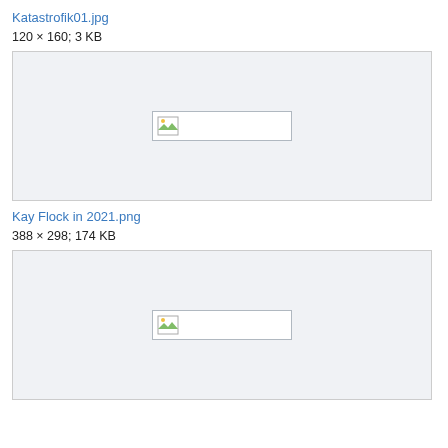Katastrofik01.jpg
120 × 160; 3 KB
[Figure (photo): Broken image placeholder for Katastrofik01.jpg]
Kay Flock in 2021.png
388 × 298; 174 KB
[Figure (photo): Broken image placeholder for Kay Flock in 2021.png]